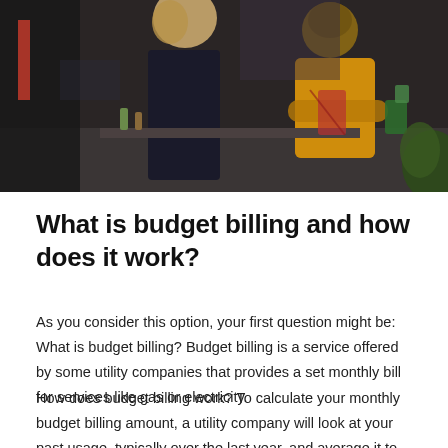[Figure (photo): Photo of two people in a kitchen setting; one person in a dark top seen from behind, another in a yellow/mustard sweater facing the camera, standing near a kitchen counter with various items.]
What is budget billing and how does it work?
As you consider this option, your first question might be: What is budget billing? Budget billing is a service offered by some utility companies that provides a set monthly bill for services like gas or electricity.
How does budget billing work? To calculate your monthly budget billing amount, a utility company will look at your past usage, typically over the last year, and average it to determine your monthly charge, says Sara Rathner,